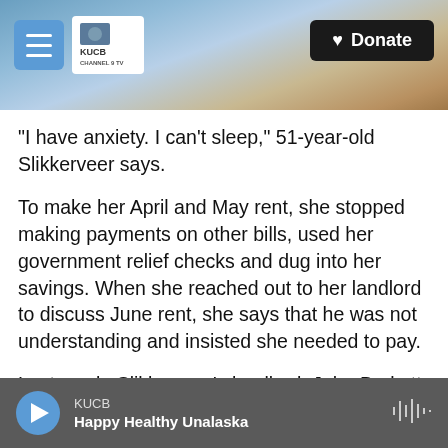[Figure (screenshot): KUCB radio/TV station website header with snowy mountain landscape background, hamburger menu button, KUCB logo, and Donate button]
"I have anxiety. I can't sleep," 51-year-old Slikkerveer says.
To make her April and May rent, she stopped making payments on other bills, used her government relief checks and dug into her savings. When she reached out to her landlord to discuss June rent, she says that he was not understanding and insisted she needed to pay.
Last week, Slikkerveer's landlord, John Burkett, told NPR: "I sympathize with Elaine's current situation and am working with her to ease the stress," adding
KUCB — Happy Healthy Unalaska